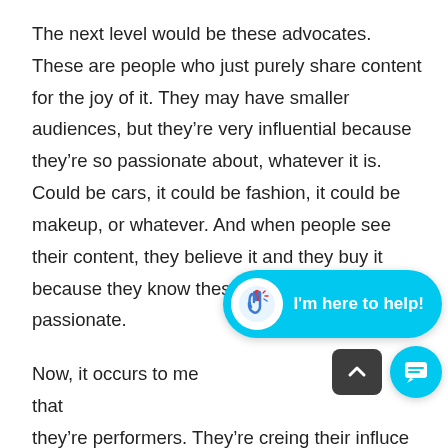The next level would be these advocates. These are people who just purely share content for the joy of it. They may have smaller audiences, but they're very influential because they're so passionate about, whatever it is. Could be cars, it could be fashion, it could be makeup, or whatever. And when people see their content, they believe it and they buy it because they know these people are passionate.
Now, it occurs to me that they're performers. They're creating their influence by entertaining, and, and I'm talking in a big generality here, right?
[Figure (screenshot): A cyan chat widget overlay showing a hand-wave icon in a white circle and the text 'I'm here to help!' in white bold text, with a dark scroll-to-top button and a cyan chat icon button below.]